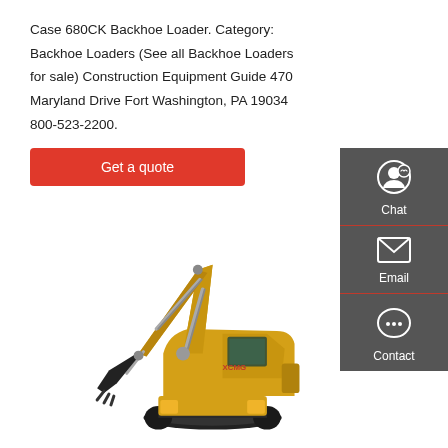Case 680CK Backhoe Loader. Category: Backhoe Loaders (See all Backhoe Loaders for sale) Construction Equipment Guide 470 Maryland Drive Fort Washington, PA 19034 800-523-2200.
[Figure (other): Red 'Get a quote' button]
[Figure (illustration): Sidebar with Chat, Email, and Contact icons on dark grey background]
[Figure (photo): Yellow crawler excavator (XCMG brand) on white background, showing boom, arm, bucket, undercarriage with tracks, and cab]